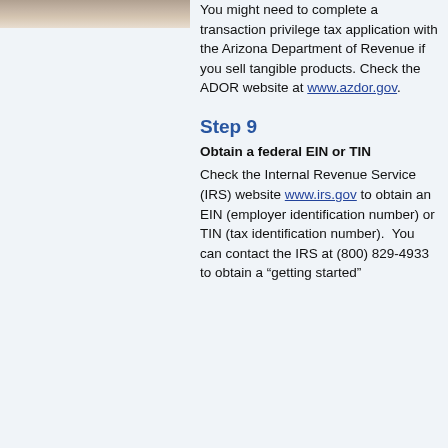[Figure (photo): Partial photo of person at laptop, cropped at top of page, left column]
You might need to complete a transaction privilege tax application with the Arizona Department of Revenue if you sell tangible products. Check the ADOR website at www.azdor.gov.
Step 9
Obtain a federal EIN or TIN
Check the Internal Revenue Service (IRS) website www.irs.gov to obtain an EIN (employer identification number) or TIN (tax identification number).  You can contact the IRS at (800) 829-4933 to obtain a "getting started"